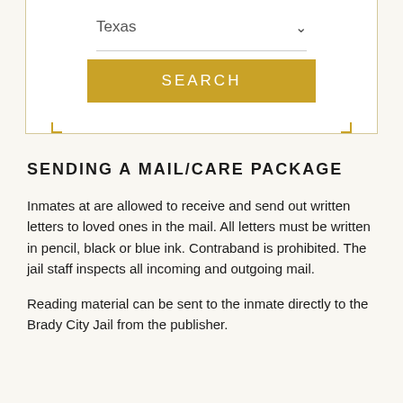[Figure (screenshot): Search interface showing a dropdown with 'Texas' selected and a gold 'SEARCH' button below, inside a bordered box with gold corner accents.]
SENDING A MAIL/CARE PACKAGE
Inmates at are allowed to receive and send out written letters to loved ones in the mail. All letters must be written in pencil, black or blue ink. Contraband is prohibited. The jail staff inspects all incoming and outgoing mail.
Reading material can be sent to the inmate directly to the Brady City Jail from the publisher.